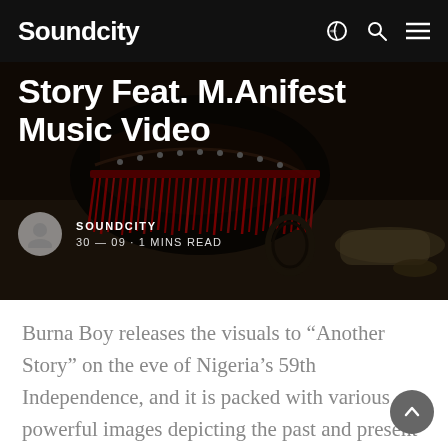Soundcity
[Figure (photo): Hero image with decorative horse saddle with red fringe tassels and metal studs on a dark background, with partial view of a person lying on ground]
Story Feat. M.Anifest Music Video
SOUNDCITY · 30 — 09 · 1 MINS READ
Burna Boy releases the visuals to “Another Story” on the eve of Nigeria’s 59th Independence, and it is packed with various powerful images depicting the past and present problems the country is facing.